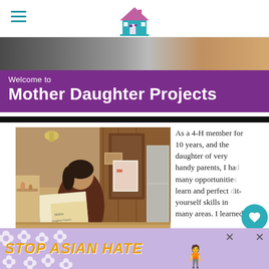Mother Daughter Projects — navigation header with hamburger menu and house logo
[Figure (photo): Top hero photo strip showing a workshop/craft workspace scene]
Welcome to
Mother Daughter Projects
[Figure (photo): Vintage photograph of a young woman working on a craft project in a kitchen/living area]
As a 4-H member for 10 years, and the daughter of very handy parents, I ha[d] many opportunitie[s to] learn and perfect [do-]it-yourself skills in many areas. I learned
[Figure (infographic): Ad banner: STOP ASIAN HATE with floral background and anime figure]